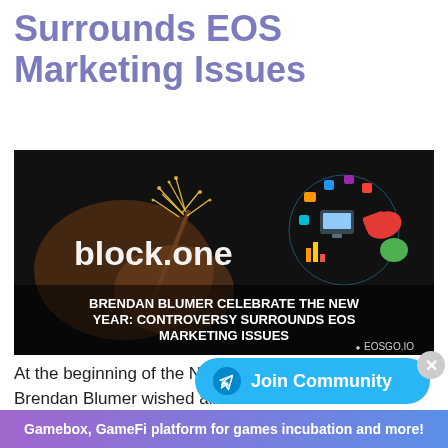Surrounds EOS Marketing Issues
[Figure (illustration): Dark background promotional image for block.one showing 'BRENDAN BLUMER CELEBRATE THE NEW YEAR: CONTROVERSY SURROUNDS EOS MARKETING ISSUES' with sparkler and marketing icons. EOSGO.IO branding in corner.]
At the beginning of the New Year, Brendan Blumer wished all EOS and BTC holders and users of the wider crypto community a happy new year.
Gamebox, GameFi platform for games incubation and more!